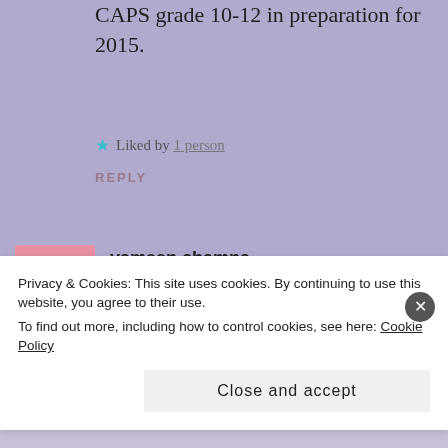CAPS grade 10-12 in preparation for 2015.
★ Liked by 1 person
REPLY
[Figure (photo): Avatar of yameen chamna - pink cartoon face icon]
yameen chamna
MARCH 11, 2015 AT 6:13 PM
👍 2 👎 1 ℹ Rate This
Good but need some more memos
Privacy & Cookies: This site uses cookies. By continuing to use this website, you agree to their use.
To find out more, including how to control cookies, see here: Cookie Policy
Close and accept